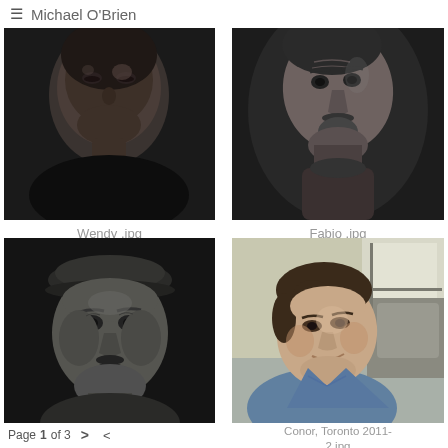≡  Michael O'Brien
[Figure (photo): Black and white close-up portrait of a woman (Wendy), dark background, looking slightly downward]
Wendy .jpg
[Figure (photo): Black and white portrait of an older man (Fabio), looking to the side, dark background]
Fabio .jpg
[Figure (photo): Black and white portrait of a middle-aged man wearing a flat cap, looking directly at camera]
[Figure (photo): Color photo of a young man (Conor) looking upward, wearing a blue t-shirt, near a window, Toronto 2011]
Conor, Toronto 2011-2.jpg
Page 1 of 3  >  <